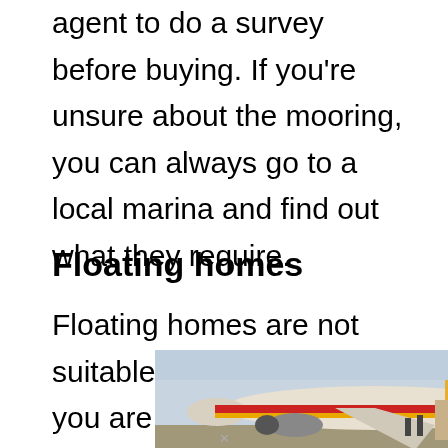agent to do a survey before buying. If you're unsure about the mooring, you can always go to a local marina and find out what they require.
Floating homes
Floating homes are not suitable for everyone. If you are a person who doesn't like to live in a house on land,
[Figure (photo): Advertisement banner showing an airplane being loaded with cargo, with text 'WITHOUT REGARD TO POLITICS, RELIGION, OR HEALTH PLANS' on the right side.]